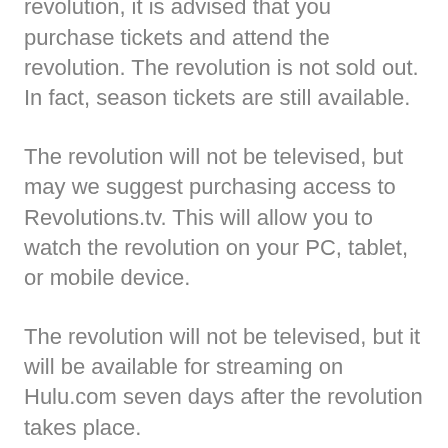televised. If you'd like to see the revolution, it is advised that you purchase tickets and attend the revolution. The revolution is not sold out. In fact, season tickets are still available.
The revolution will not be televised, but may we suggest purchasing access to Revolutions.tv. This will allow you to watch the revolution on your PC, tablet, or mobile device.
The revolution will not be televised, but it will be available for streaming on Hulu.com seven days after the revolution takes place.
The revolution will not be televised, but I know this weird Korean website where you can watch it. There are subtitles I don't understand, and the quality isn't great, but it's still the revolution.
The revolution will not be televised, but if you have a cable subscription, you can log in to